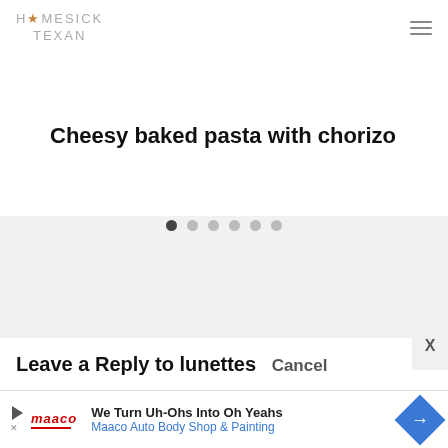HOMESICK TEXAN
Cheesy baked pasta with chorizo
[Figure (other): Slider navigation dots — 6 dots with first dot dark/active and remaining 5 grey]
Leave a Reply to lunettes Cancel
[Figure (screenshot): Advertisement banner: We Turn Uh-Ohs Into Oh Yeahs — Maaco Auto Body Shop & Painting]